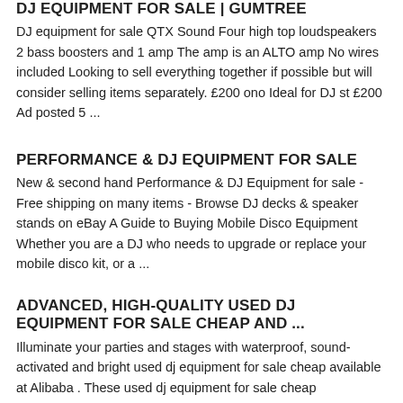DJ EQUIPMENT FOR SALE | GUMTREE
DJ equipment for sale QTX Sound Four high top loudspeakers 2 bass boosters and 1 amp The amp is an ALTO amp No wires included Looking to sell everything together if possible but will consider selling items separately. £200 ono Ideal for DJ st £200 Ad posted 5 ...
PERFORMANCE & DJ EQUIPMENT FOR SALE
New & second hand Performance & DJ Equipment for sale - Free shipping on many items - Browse DJ decks & speaker stands on eBay A Guide to Buying Mobile Disco Equipment Whether you are a DJ who needs to upgrade or replace your mobile disco kit, or a ...
ADVANCED, HIGH-QUALITY USED DJ EQUIPMENT FOR SALE CHEAP AND ...
Illuminate your parties and stages with waterproof, sound-activated and bright used dj equipment for sale cheap available at Alibaba . These used dj equipment for sale cheap